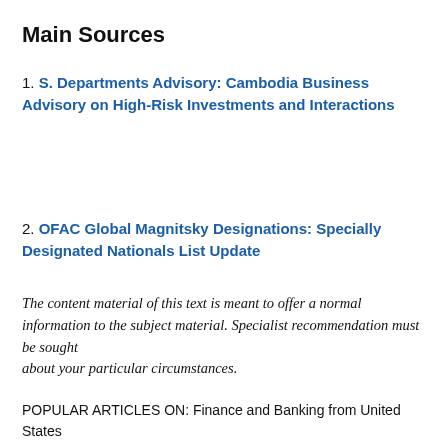Main Sources
S. Departments Advisory: Cambodia Business Advisory on High-Risk Investments and Interactions
OFAC Global Magnitsky Designations: Specially Designated Nationals List Update
The content material of this text is meant to offer a normal information to the subject material. Specialist recommendation must be sought about your particular circumstances.
POPULAR ARTICLES ON: Finance and Banking from United States